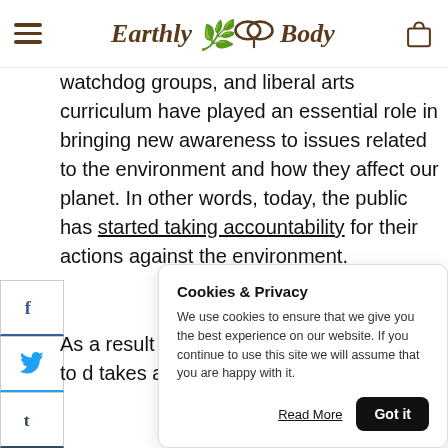Earthly Body
watchdog groups, and liberal arts curriculum have played an essential role in bringing new awareness to issues related to the environment and how they affect our planet. In other words, today, the public has started taking accountability for their actions against the environment.
As a result... are jumping... bandwagon... brands to d... takes a lot... friendly.
Cookies & Privacy
We use cookies to ensure that we give you the best experience on our website. If you continue to use this site we will assume that you are happy with it.
Read More  Got it